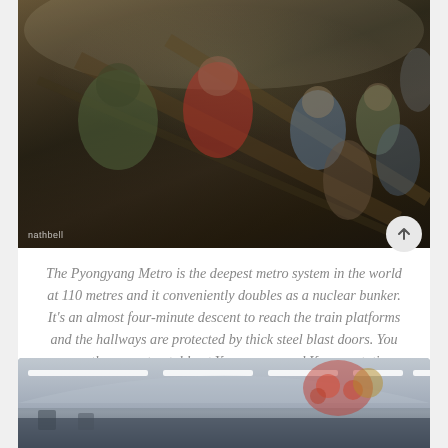[Figure (photo): People riding a long escalator descending into the Pyongyang Metro underground station. The tunnel has a curved white ceiling. A watermark reading 'nathbell' is visible in the bottom left corner.]
The Pyongyang Metro is the deepest metro system in the world at 110 metres and it conveniently doubles as a nuclear bunker. It's an almost four-minute descent to reach the train platforms and the hallways are protected by thick steel blast doors. You can see these most notably at Yonggwang and Kaeson stations.
[Figure (photo): Interior of a Pyongyang Metro station platform showing the arched ceiling with fluorescent strip lights and decorative chandeliers with red and yellow flower-like decorations.]